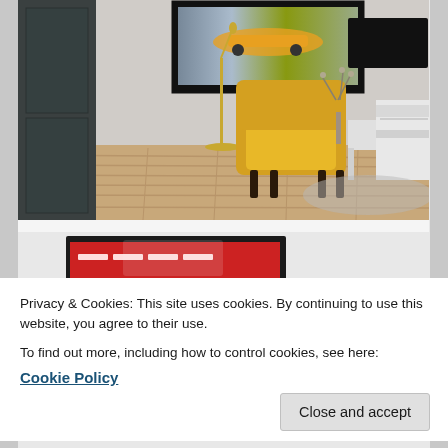[Figure (photo): Living room interior with yellow armchair, framed motorsport artwork on wall, gold floor lamp, white TV console, and light wood flooring]
[Figure (photo): Partial view of a product image showing what appears to be a motorsport/racing themed item with red coloring]
Privacy & Cookies: This site uses cookies. By continuing to use this website, you agree to their use.
To find out more, including how to control cookies, see here:
Cookie Policy
Close and accept